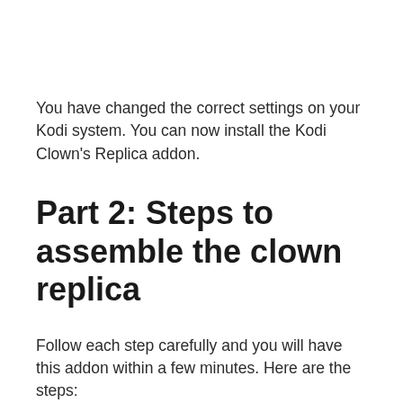You have changed the correct settings on your Kodi system. You can now install the Kodi Clown's Replica addon.
Part 2: Steps to assemble the clown replica
Follow each step carefully and you will have this addon within a few minutes. Here are the steps:
1. Open the settings in the Kodi application